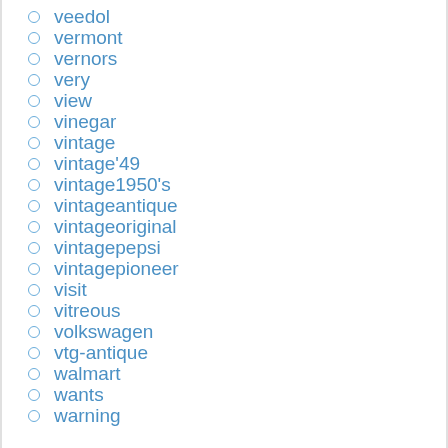veedol
vermont
vernors
very
view
vinegar
vintage
vintage'49
vintage1950's
vintageantique
vintageoriginal
vintagepepsi
vintagepioneer
visit
vitreous
volkswagen
vtg-antique
walmart
wants
warning